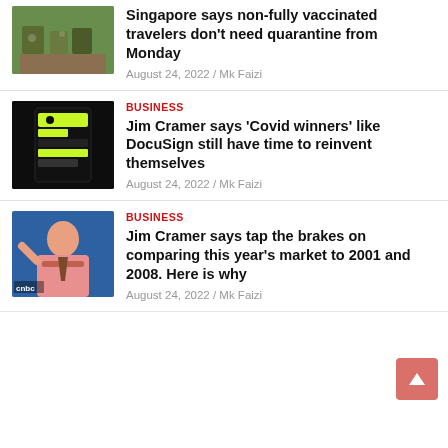[Figure (photo): Outdoor cafe scene with people sitting at tables surrounded by greenery]
Singapore says non-fully vaccinated travelers don't need quarantine from Monday
August 24, 2022 / Mk Faizi
BUSINESS
[Figure (photo): A smartphone with a dark screen showing a yellow-green app interface]
Jim Cramer says ‘Covid winners’ like DocuSign still have time to reinvent themselves
August 24, 2022 / Mk Faizi
BUSINESS
[Figure (photo): Jim Cramer gesturing with hand raised, wearing pink shirt, in front of blue background]
Jim Cramer says tap the brakes on comparing this year’s market to 2001 and 2008. Here is why
August 24, 2022 / Mk Faizi